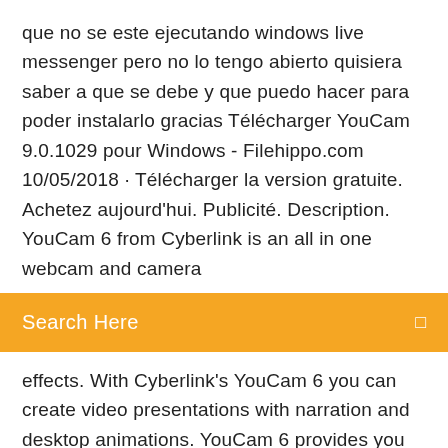que no se este ejecutando windows live messenger pero no lo tengo abierto quisiera saber a que se debe y que puedo hacer para poder instalarlo gracias Télécharger YouCam 9.0.1029 pour Windows - Filehippo.com 10/05/2018 · Télécharger la version gratuite. Achetez aujourd'hui. Publicité. Description. YouCam 6 from Cyberlink is an all in one webcam and camera
Search Here
effects. With Cyberlink's YouCam 6 you can create video presentations with narration and desktop animations. YouCam 6 provides you
Might & magic duel of champions 2020
Telecharger movavi video editor 11 gratuit
Application pour prendre des notes apple
Sfr tv sur ordinateur windows 10
Mise a niveau windows xp
Telecharger google chrome francais 64 bits windows 7